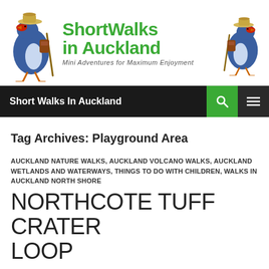[Figure (logo): Short Walks in Auckland website header banner with cartoon pukeko birds on left and right, green site title 'Short Walks in Auckland' and subtitle 'Mini Adventures for Maximum Enjoyment']
Short Walks In Auckland
Tag Archives: Playground Area
AUCKLAND NATURE WALKS, AUCKLAND VOLCANO WALKS, AUCKLAND WETLANDS AND WATERWAYS, THINGS TO DO WITH CHILDREN, WALKS IN AUCKLAND NORTH SHORE
NORTHCOTE TUFF CRATER LOOP
AUGUST 17, 2013  HELEN  6 COMMENTS